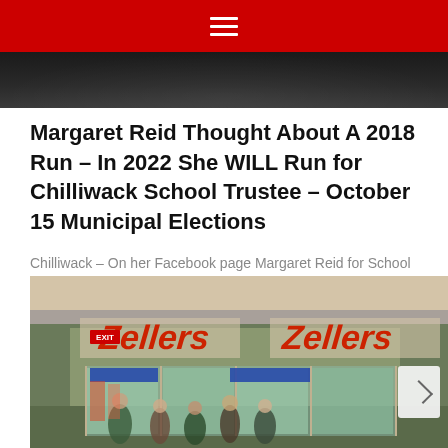Navigation menu (hamburger icon on red background)
[Figure (photo): Dark image strip at top, appears to be a night scene or dark background]
Margaret Reid Thought About A 2018 Run – In 2022 She WILL Run for Chilliwack School Trustee – October 15 Municipal Elections
Chilliwack – On her Facebook page Margaret Reid for School Trustee, Reid outlines what happened she thought about a bid for Chilliwack School Trustee in
[Figure (photo): Interior photo of a Zellers department store, showing the red Zellers logo signs above the store entrance, shoppers visible inside, EXIT sign on the left wall]